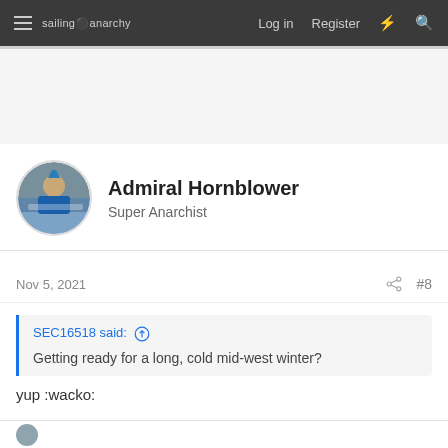sailing anarchy — Log in  Register
Admiral Hornblower
Super Anarchist
Nov 5, 2021  #8
SEC16518 said: Getting ready for a long, cold mid-west winter?
yup :wacko: